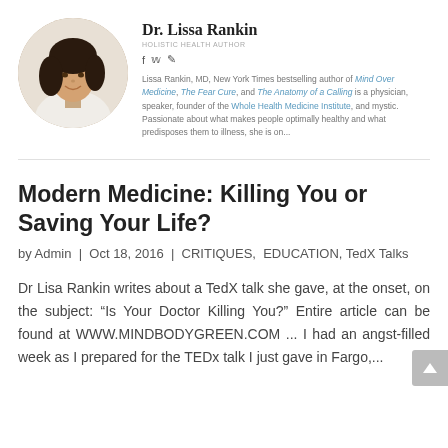[Figure (photo): Circular portrait photo of Dr. Lissa Rankin, a woman with dark hair, wearing a white top, smiling.]
Dr. Lissa Rankin
HOLISTIC HEALTH AUTHOR
Lissa Rankin, MD, New York Times bestselling author of Mind Over Medicine, The Fear Cure, and The Anatomy of a Calling is a physician, speaker, founder of the Whole Health Medicine Institute, and mystic. Passionate about what makes people optimally healthy and what predisposes them to illness, she is on...
Modern Medicine: Killing You or Saving Your Life?
by Admin  |  Oct 18, 2016  |  CRITIQUES,  EDUCATION,  TedX Talks
Dr Lisa Rankin writes about a TedX talk she gave, at the onset, on the subject: “Is Your Doctor Killing You?” Entire article can be found at WWW.MINDBODYGREEN.COM ... I had an angst-filled week as I prepared for the TEDx talk I just gave in Fargo,...